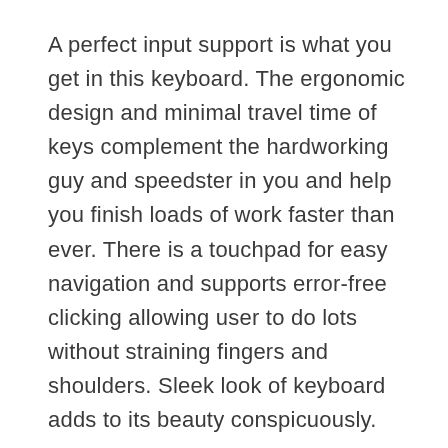A perfect input support is what you get in this keyboard. The ergonomic design and minimal travel time of keys complement the hardworking guy and speedster in you and help you finish loads of work faster than ever. There is a touchpad for easy navigation and supports error-free clicking allowing user to do lots without straining fingers and shoulders. Sleek look of keyboard adds to its beauty conspicuously.